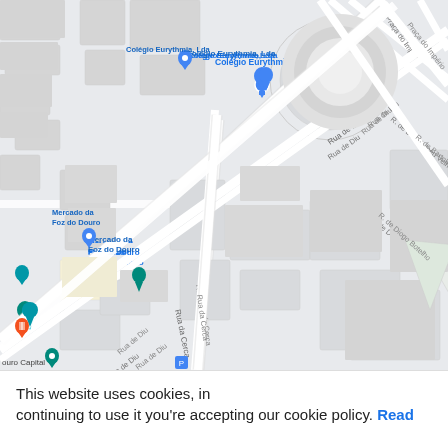[Figure (map): Google Maps screenshot showing streets around Foz do Douro area in Porto, Portugal. Visible labels include: Colégio Eurythmia, Lda; Mercado da Foz do Douro; Treze %; Universidade Católica Portuguesa, Porto; Rua de Diu; Praça do Império; R. de Bartolomeu Velho; R. de Diogo Botelho; Rua da Cerca; Douro Capital. Various map pins (blue, orange, teal) are visible throughout.]
This website uses cookies, in continuing to use it you're accepting our cookie policy. Read